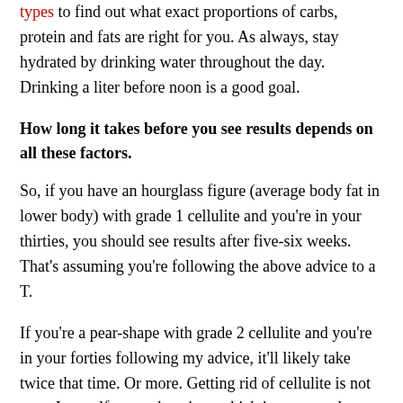types to find out what exact proportions of carbs, protein and fats are right for you. As always, stay hydrated by drinking water throughout the day. Drinking a liter before noon is a good goal.
How long it takes before you see results depends on all these factors.
So, if you have an hourglass figure (average body fat in lower body) with grade 1 cellulite and you're in your thirties, you should see results after five-six weeks. That's assuming you're following the above advice to a T.
If you're a pear-shape with grade 2 cellulite and you're in your forties following my advice, it'll likely take twice that time. Or more. Getting rid of cellulite is not easy. I myself, at my heaviest, which is ten pounds heavier than what I am today, was somewhere between a 1 and 2. I still have about one and a half to two pounds of body fat to lose before it's 0. That might sound like nothing and something you can lose in a couple of days, but that's not true. Yes, you can lose a couple of